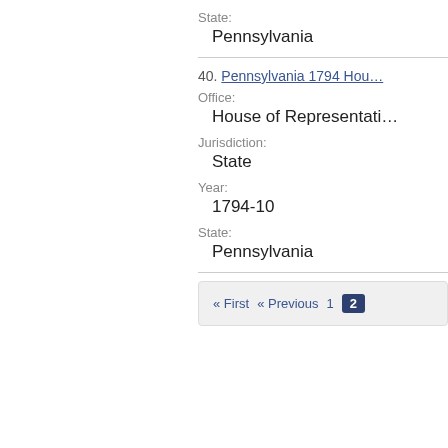State:
Pennsylvania
40. Pennsylvania 1794 Hous...
Office:
House of Representati...
Jurisdiction:
State
Year:
1794-10
State:
Pennsylvania
« First  « Previous  1  2